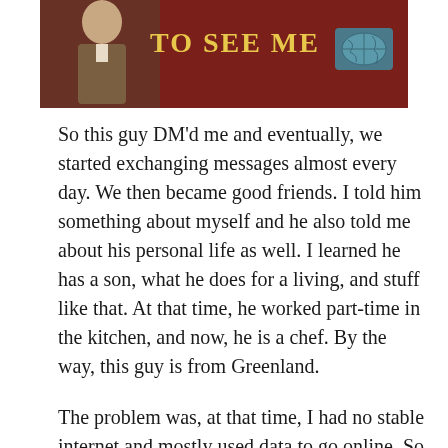[Figure (illustration): Book cover or banner image showing a man in a brown suit on the left and text 'TO SEE ME' in yellow on a dark red/maroon background, with a world map icon on the right.]
So this guy DM'd me and eventually, we started exchanging messages almost every day. We then became good friends. I told him something about myself and he also told me about his personal life as well. I learned he has a son, what he does for a living, and stuff like that. At that time, he worked part-time in the kitchen, and now, he is a chef. By the way, this guy is from Greenland.
The problem was, at that time, I had no stable internet and mostly used data to go online. So eventually, we didn't get to talk as often as we used to until we kinda lost contact for years. I did remember, though, that he emailed me one time. Too bad I just couldn't remember the entire content of his email, but I did know that it was the...